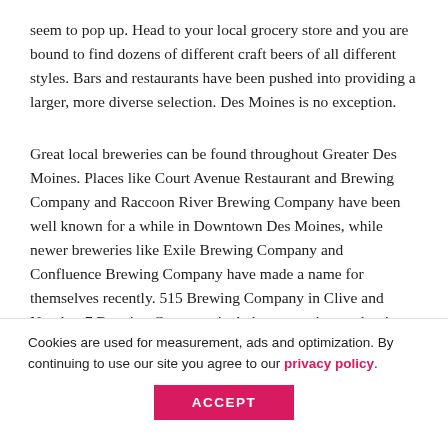seem to pop up. Head to your local grocery store and you are bound to find dozens of different craft beers of all different styles. Bars and restaurants have been pushed into providing a larger, more diverse selection. Des Moines is no exception.
Great local breweries can be found throughout Greater Des Moines. Places like Court Avenue Restaurant and Brewing Company and Raccoon River Brewing Company have been well known for a while in Downtown Des Moines, while newer breweries like Exile Brewing Company and Confluence Brewing Company have made a name for themselves recently. 515 Brewing Company in Clive and Number 7 Brewing Company in Ankeny are also on the rise with popularity in the Metro.
Cookies are used for measurement, ads and optimization. By continuing to use our site you agree to our privacy policy.